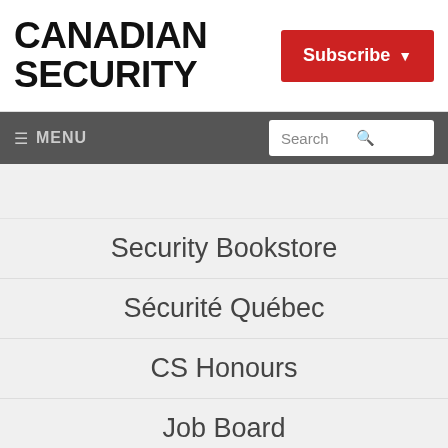CANADIAN SECURITY
Subscribe
≡ MENU   Search
Security Bookstore
Sécurité Québec
CS Honours
Job Board
We are using cookies to give you the best experience on our website.
By continuing to use the site, you agree to the use of cookies.
To find out more, read our privacy policy.
I agree